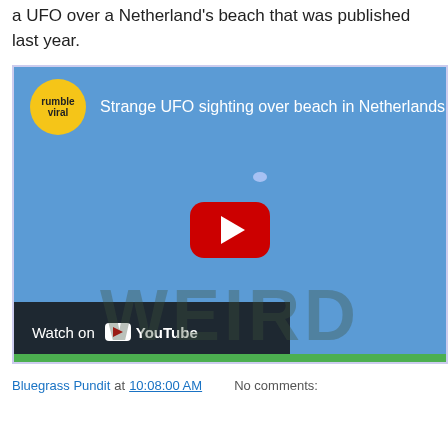a UFO over a Netherland's beach that was published last year.
[Figure (screenshot): Embedded video thumbnail from Rumble/YouTube showing 'Strange UFO sighting over beach in Netherlands' with a blue sky background, Rumble viral badge, play button, and Watch on YouTube bar at the bottom.]
Bluegrass Pundit at 10:08:00 AM    No comments:
Share